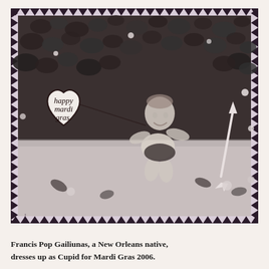[Figure (photo): Black and white vintage-style photograph of a baby dressed as Cupid, sitting outdoors against a leafy hedge backdrop. The baby is smiling and holding a Cupid's arrow. To the left is a heart-shaped sign with cursive text reading 'happy mardi gras.' The photo has a decorative zigzag/scalloped border edge typical of old photographs.]
Francis Pop Gailiunas, a New Orleans native, dresses up as Cupid for Mardi Gras 2006.